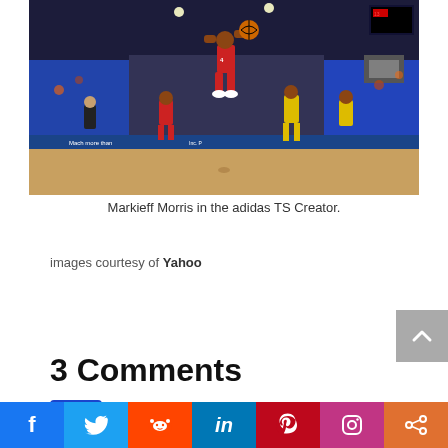[Figure (photo): Basketball game action photo: player in red jersey leaping high with ball, crowd in background, arena setting with scoreboard and advertising boards visible along court]
Markieff Morris in the adidas TS Creator.
images courtesy of Yahoo
3 Comments
KLAP215 on March 26, 2011 at 10:43 PM